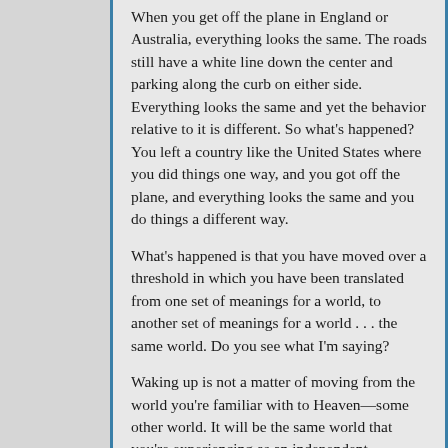When you get off the plane in England or Australia, everything looks the same. The roads still have a white line down the center and parking along the curb on either side. Everything looks the same and yet the behavior relative to it is different. So what's happened? You left a country like the United States where you did things one way, and you got off the plane, and everything looks the same and you do things a different way.
What's happened is that you have moved over a threshold in which you have been translated from one set of meanings for a world, to another set of meanings for a world . . . the same world. Do you see what I'm saying?
Waking up is not a matter of moving from the world you're familiar with to Heaven—some other world. It will be the same world that you're experiencing as an independent authorizer, as an orphan, as one practicing faithlessness, wherein you begin to practice faith and see it a different way, experience different meanings for it and behave differently to it.